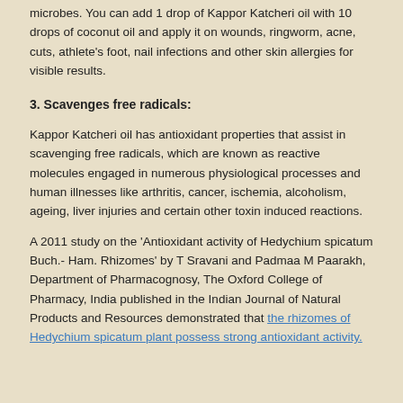microbes. You can add 1 drop of Kappor Katcheri oil with 10 drops of coconut oil and apply it on wounds, ringworm, acne, cuts, athlete's foot, nail infections and other skin allergies for visible results.
3. Scavenges free radicals:
Kappor Katcheri oil has antioxidant properties that assist in scavenging free radicals, which are known as reactive molecules engaged in numerous physiological processes and human illnesses like arthritis, cancer, ischemia, alcoholism, ageing, liver injuries and certain other toxin induced reactions.
A 2011 study on the 'Antioxidant activity of Hedychium spicatum Buch.- Ham. Rhizomes' by T Sravani and Padmaa M Paarakh, Department of Pharmacognosy, The Oxford College of Pharmacy, India published in the Indian Journal of Natural Products and Resources demonstrated that the rhizomes of Hedychium spicatum plant possess strong antioxidant activity.